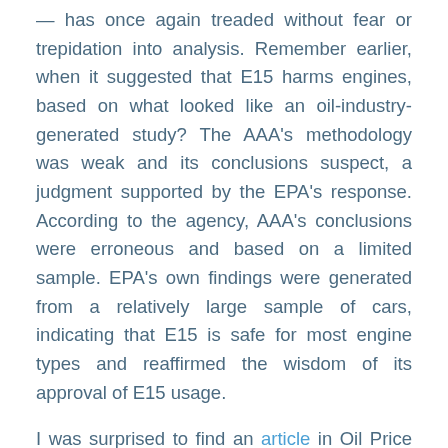— has once again treaded without fear or trepidation into analysis. Remember earlier, when it suggested that E15 harms engines, based on what looked like an oil-industry-generated study? The AAA's methodology was weak and its conclusions suspect, a judgment supported by the EPA's response. According to the agency, AAA's conclusions were erroneous and based on a limited sample. EPA's own findings were generated from a relatively large sample of cars, indicating that E15 is safe for most engine types and reaffirmed the wisdom of its approval of E15 usage.
I was surprised to find an article in Oil Price by blogger Daniel Graeber, based to a large degree